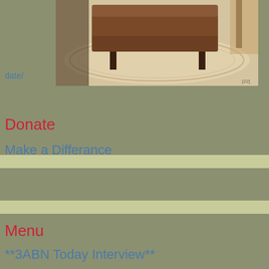[Figure (photo): Photo of a brown leather ottoman/coffee table on a decorative rug, with a chair partially visible in the background]
date/
Donate
Make a Differance
Menu
**3ABN Today Interview**